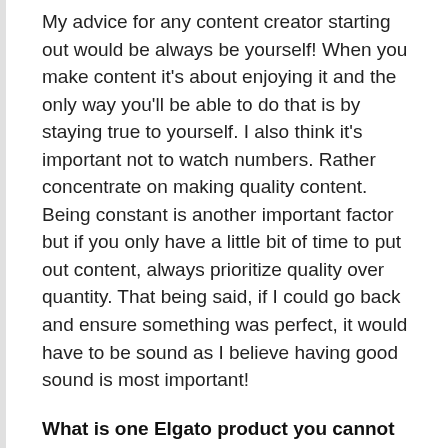My advice for any content creator starting out would be always be yourself! When you make content it's about enjoying it and the only way you'll be able to do that is by staying true to yourself. I also think it's important not to watch numbers. Rather concentrate on making quality content. Being constant is another important factor but if you only have a little bit of time to put out content, always prioritize quality over quantity. That being said, if I could go back and ensure something was perfect, it would have to be sound as I believe having good sound is most important!
What is one Elgato product you cannot live without?
I couldn't live without my Ring Light. It does so much for me in terms of content quality and what I can use it for. It's perfect for all platforms and the quality is amazing. If I need some extra lighting for a photo, selfies, or any content in general, it's really